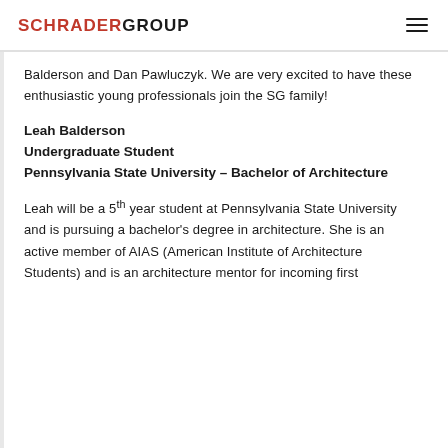SCHRADER GROUP
Balderson and Dan Pawluczyk. We are very excited to have these enthusiastic young professionals join the SG family!
Leah Balderson
Undergraduate Student
Pennsylvania State University – Bachelor of Architecture
Leah will be a 5th year student at Pennsylvania State University and is pursuing a bachelor's degree in architecture. She is an active member of AIAS (American Institute of Architecture Students) and is an architecture mentor for incoming first